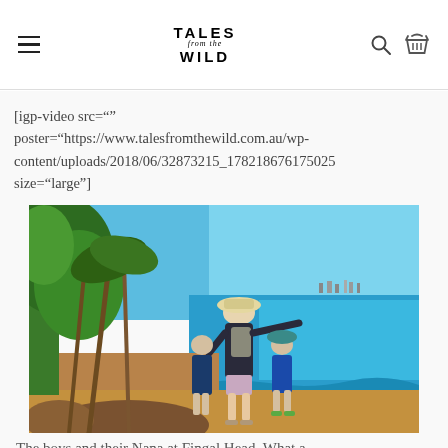Tales from the Wild
[igp-video src="" poster="https://www.talesfromthewild.com.au/wp-content/uploads/2018/06/32873215_17821867617502  size="large"]
[Figure (photo): A woman (Nana) and two boys standing on a rocky/sandy coastal path at Fingal Head, viewed from behind. The woman wears a hat and backpack and is pointing toward the coast. The ocean is bright blue and a coastal town is visible in the distance. Pandanus trees are on the left.]
The boys and their Nana at Fingal Head. What a